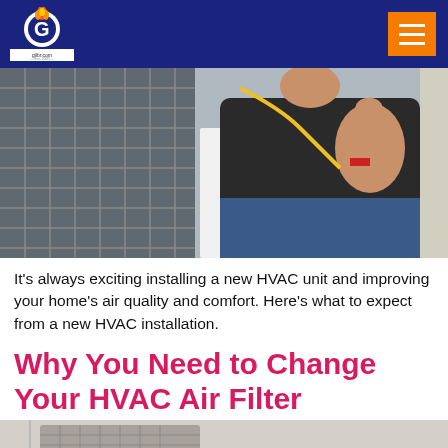gilbr.com — Est. 2000
[Figure (photo): HVAC technician giving thumbs up next to outdoor HVAC unit with wiring visible]
It's always exciting installing a new HVAC unit and improving your home's air quality and comfort. Here's what to expect from a new HVAC installation.
Why You Need to Change Your HVAC Air Filter
[Figure (photo): Bottom portion of a room corner showing HVAC air filter installation area]